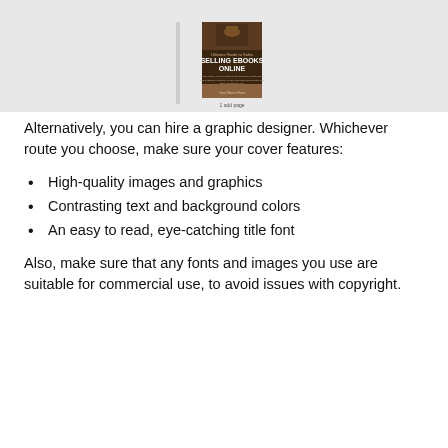[Figure (illustration): A book cover for 'Selling Ebooks Online - Ultimate Guide to Sales' shown inside a light gray box, with a page label below it.]
Alternatively, you can hire a graphic designer. Whichever route you choose, make sure your cover features:
High-quality images and graphics
Contrasting text and background colors
An easy to read, eye-catching title font
Also, make sure that any fonts and images you use are suitable for commercial use, to avoid issues with copyright.